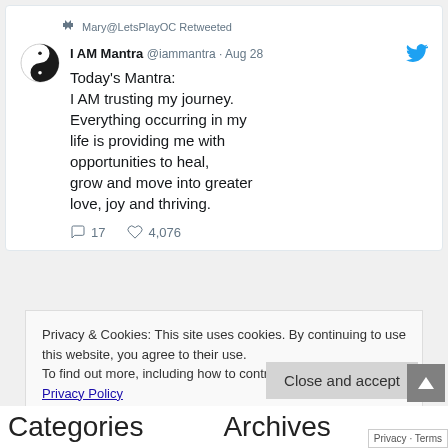Mary@LetsPlayOC Retweeted
I AM Mantra @iammantra · Aug 28
Today's Mantra:
I AM trusting my journey. Everything occurring in my life is providing me with opportunities to heal, grow and move into greater love, joy and thriving.
17   4,076
Privacy & Cookies: This site uses cookies. By continuing to use this website, you agree to their use.
To find out more, including how to control cookies, see here: Privacy Policy
Close and accept
Categories
Archives